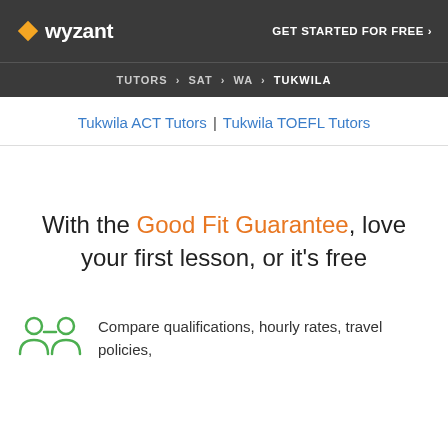wyzant | GET STARTED FOR FREE ›
TUTORS › SAT › WA › TUKWILA
Tukwila ACT Tutors | Tukwila TOEFL Tutors
With the Good Fit Guarantee, love your first lesson, or it's free
Compare qualifications, hourly rates, travel policies,